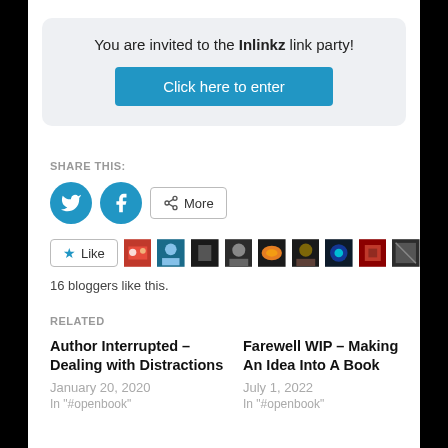You are invited to the Inlinkz link party!
Click here to enter
SHARE THIS:
[Figure (screenshot): Social share buttons: Twitter circle icon, Facebook circle icon, and a More button with share icon]
[Figure (screenshot): Like button with star icon and 8 blogger avatar thumbnails]
16 bloggers like this.
RELATED
Author Interrupted – Dealing with Distractions
January 20, 2020
In "#openbook"
Farewell WIP – Making An Idea Into A Book
July 1, 2022
In "#openbook"